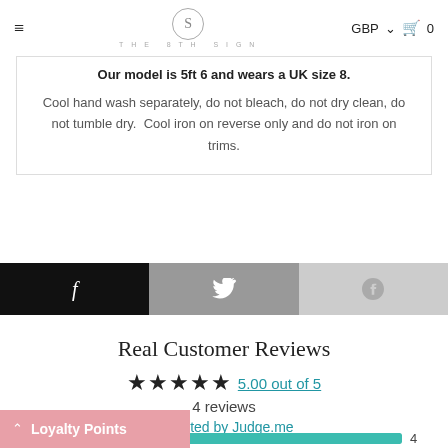THE 8TH SIGN — GBP 0
Our model is 5ft 6 and wears a UK size 8.
Cool hand wash separately, do not bleach, do not dry clean, do not tumble dry. Cool iron on reverse only and do not iron on trims.
[Figure (infographic): Social sharing bar with Facebook, Twitter, and Pinterest buttons]
Real Customer Reviews
★★★★★ 5.00 out of 5
4 reviews
collected by Judge.me
[Figure (bar-chart): Rating breakdown]